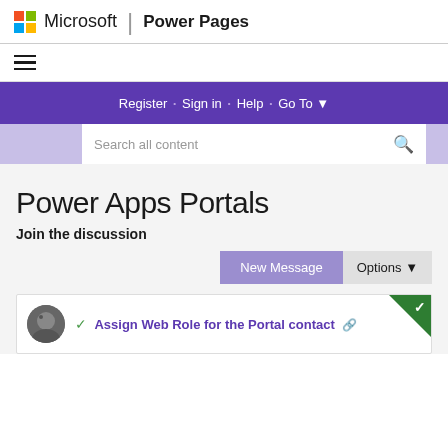Microsoft | Power Pages
[Figure (logo): Microsoft logo with four colored squares and hamburger menu icon]
Register · Sign in · Help · Go To ▾
Search all content
Power Apps Portals
Join the discussion
New Message  Options ▾
✓ Assign Web Role for the Portal contact 🔗